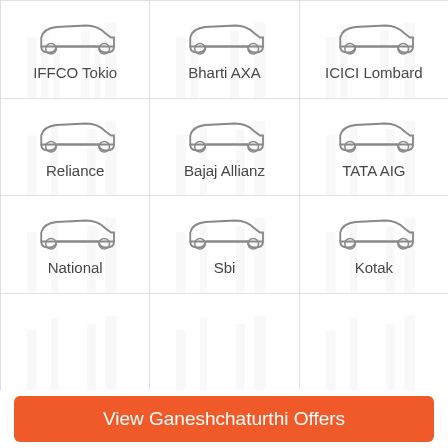[Figure (infographic): 3x4 grid of insurance provider logos with car icons: IFFCO Tokio, Bharti AXA, ICICI Lombard, Reliance, Bajaj Allianz, TATA AIG, National, Sbi, Kotak, and a partial 4th row]
IFFCO Tokio
Bharti AXA
ICICI Lombard
Reliance
Bajaj Allianz
TATA AIG
National
Sbi
Kotak
View Ganeshchaturthi Offers